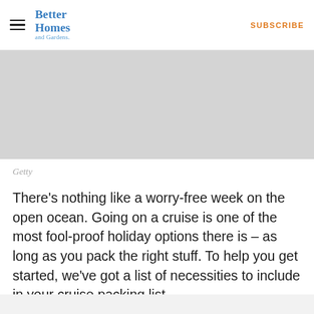Better Homes and Gardens | SUBSCRIBE
[Figure (photo): Gray placeholder image area representing a cruise or ocean photo]
Getty
There's nothing like a worry-free week on the open ocean. Going on a cruise is one of the most fool-proof holiday options there is – as long as you pack the right stuff. To help you get started, we've got a list of necessities to include in your cruise packing list.
RELATED: 10 Things To Know Before Your First Cruise